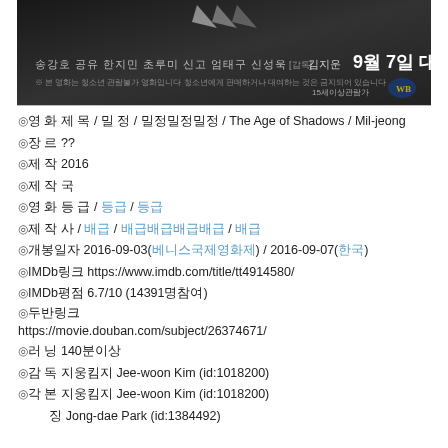[Figure (photo): Movie promotional banner for 'The Age of Shadows' (Mil-jeong) showing cast names in Korean and the release date '9월 7일 대개봉' on a dark background with arrow graphics and WB logo.]
◎영 화 제 목 / 밀 정 / 밀정밀정밀정 / The Age of Shadows / Mil-jeong
◎장 르 ??
◎제 작 2016
◎제 작 국
◎영 화 등 급 / 등급 / 등급
◎제 작 사 / 배급 / 배급배급배급배급 / 배급
◎개봉일자 2016-09-03(베니스국제영화제) / 2016-09-07(한국)
◎IMDb링크 https://www.imdb.com/title/tt4914580/
◎IMDb평점 6.7/10 (14391명참여)
◎두반링크
https://movie.douban.com/subject/26374671/
◎러 닝 140분이상
◎감 독 지웅킴지 Jee-woon Kim (id:1018200)
◎각 본 지웅킴지 Jee-woon Kim (id:1018200)
징 Jong-dae Park (id:1384492)